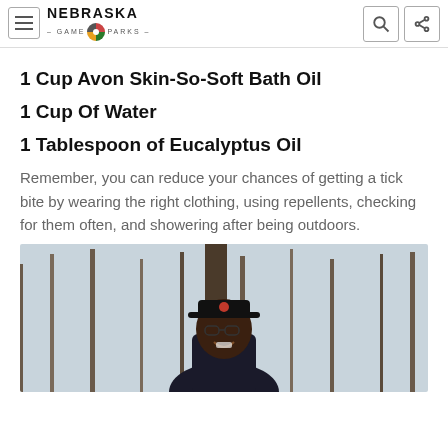NEBRASKA GAME & PARKS
1 Cup Avon Skin-So-Soft Bath Oil
1 Cup Of Water
1 Tablespoon of Eucalyptus Oil
Remember, you can reduce your chances of getting a tick bite by wearing the right clothing, using repellents, checking for them often, and showering after being outdoors.
[Figure (photo): A smiling man wearing a dark cap and black hoodie, standing outdoors in front of bare winter trees.]